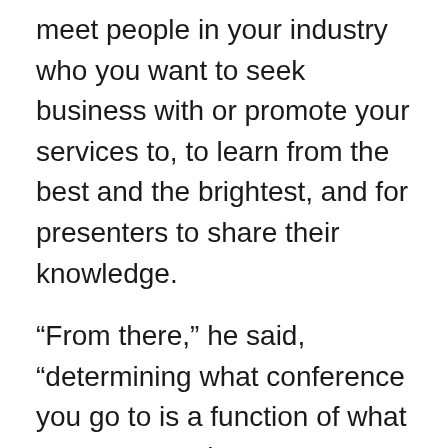meet people in your industry who you want to seek business with or promote your services to, to learn from the best and the brightest, and for presenters to share their knowledge.
“From there,” he said, “determining what conference you go to is a function of what your purpose is.”
Finding a conference
There are several ways to get involved and hear about conferences.  Udell is on a variety of different mailing lists and in user